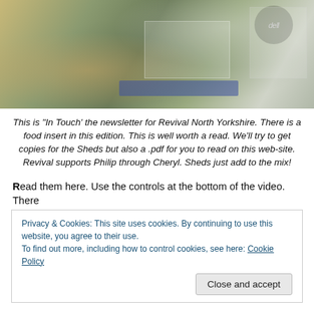[Figure (photo): A photograph showing printed newsletters and food inserts spread on a surface near a Dell laptop. The newsletters appear to be 'In Touch' from Revival North Yorkshire with a food supplement visible showing product images and a Morrisons logo.]
This is “In Touch’ the newsletter for Revival North Yorkshire. There is a food insert in this edition. This is well worth a read. We’ll try to get copies for the Sheds but also a .pdf for you to read on this web-site. Revival supports Philip through Cheryl. Sheds just add to the mix!
Read them here. Use the controls at the bottom of the video. There
Privacy & Cookies: This site uses cookies. By continuing to use this website, you agree to their use.
To find out more, including how to control cookies, see here: Cookie Policy